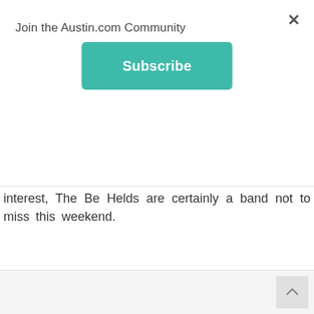Join the Austin.com Community
interest, The Be Helds are certainly a band not to miss this weekend.